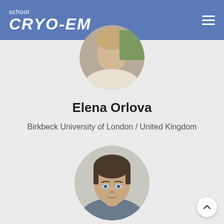school CRYO-EM
[Figure (photo): Circular profile photo of Elena Orlova, partially cropped at top]
Elena Orlova
Birkbeck University of London / United Kingdom
[Figure (photo): Circular profile photo of a man with brown hair and blue eyes, partially cropped at bottom]